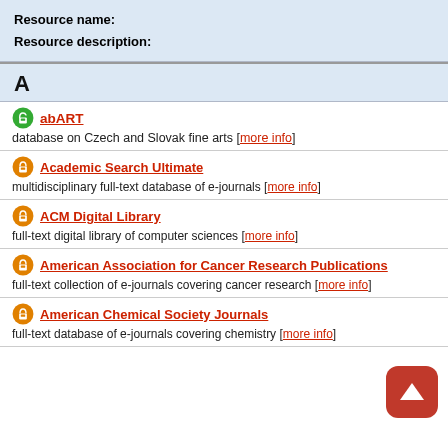Resource name:
Resource description:
A
abART — database on Czech and Slovak fine arts [more info]
Academic Search Ultimate — multidisciplinary full-text database of e-journals [more info]
ACM Digital Library — full-text digital library of computer sciences [more info]
American Association for Cancer Research Publications — full-text collection of e-journals covering cancer research [more info]
American Chemical Society Journals — full-text database of e-journals covering chemistry [more info]